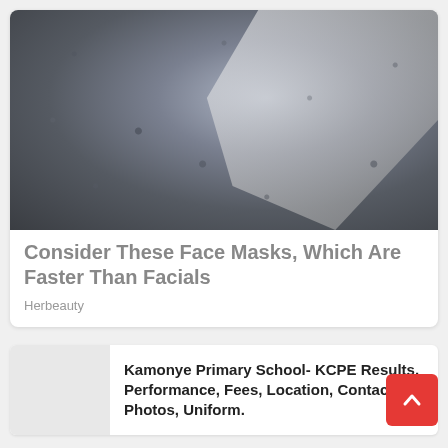[Figure (photo): Close-up photo of chia seeds soaked in liquid, viewed from above with a white spoon/bowl visible, seeds appear gel-coated and dark grey/blue-black in color]
Consider These Face Masks, Which Are Faster Than Facials
Herbeauty
[Figure (photo): Small thumbnail image placeholder (grey box)]
Kamonye Primary School- KCPE Results, Performance, Fees, Location, Contact, Photos, Uniform.